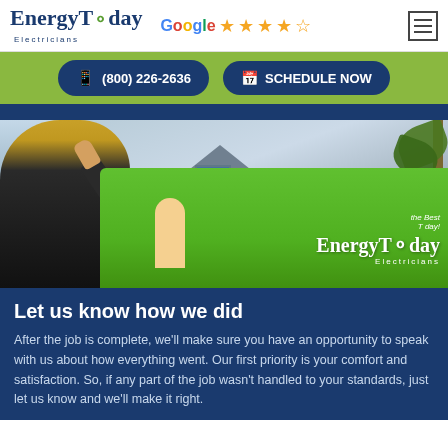EnergyToday Electricians — Google 4.5 stars rating — Menu
(800) 226-2636 | SCHEDULE NOW
[Figure (photo): Woman with blonde hair waving at an EnergyToday Electricians green service van parked in front of a house with palm trees]
Let us know how we did
After the job is complete, we'll make sure you have an opportunity to speak with us about how everything went. Our first priority is your comfort and satisfaction. So, if any part of the job wasn't handled to your standards, just let us know and we'll make it right.